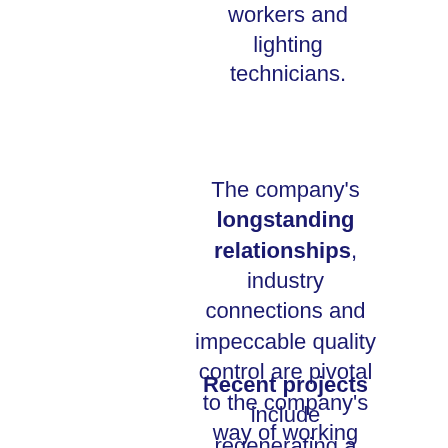workers and lighting technicians.
The company's longstanding relationships, industry connections and impeccable quality control are pivotal to the company's way of working and vision for the future.
Recent projects include regenerating a previously